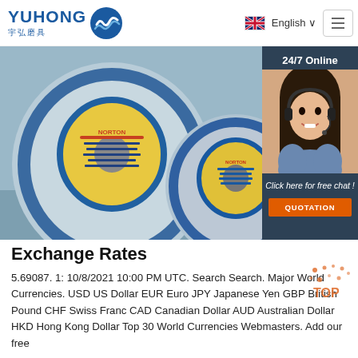YUHONG 宇弘磨具 | English
[Figure (photo): Two blue grinding wheels with yellow and blue labels (Norton brand) on a grey background, with a 24/7 online chat panel on the right side featuring a customer service agent and a QUOTATION button]
Exchange Rates
5.69087. 1: 10/8/2021 10:00 PM UTC. Search Search. Major World Currencies. USD US Dollar EUR Euro JPY Japanese Yen GBP British Pound CHF Swiss Franc CAD Canadian Dollar AUD Australian Dollar HKD Hong Kong Dollar Top 30 World Currencies Webmasters. Add our free